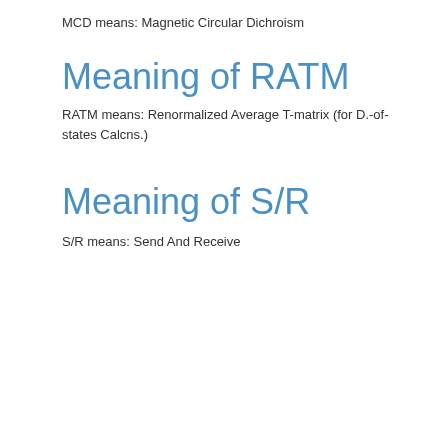MCD means: Magnetic Circular Dichroism
Meaning of RATM
RATM means: Renormalized Average T-matrix (for D.-of-states Calcns.)
Meaning of S/R
S/R means: Send And Receive